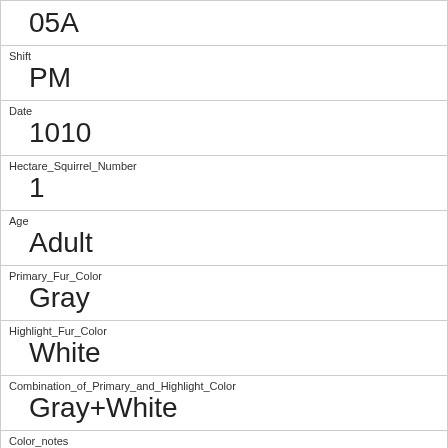| 05A |
| Shift | PM |
| Date | 1010 |
| Hectare_Squirrel_Number | 1 |
| Age | Adult |
| Primary_Fur_Color | Gray |
| Highlight_Fur_Color | White |
| Combination_of_Primary_and_Highlight_Color | Gray+White |
| Color_notes |  |
| Location | Ground Plane |
| Above_Ground_Sighter_Measurement |  |